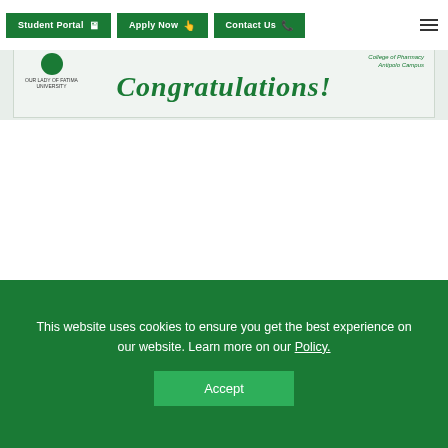Student Portal | Apply Now | Contact Us
[Figure (photo): Congratulations banner with OLFU logo on left and College of Pharmacy logo on right, with cursive 'Congratulations!' text in green]
POSTER CREATED BY OLFU PHARMA TEAM, CITED AS THE BEST IN ADAMSON RESEARCH FORUM
This website uses cookies to ensure you get the best experience on our website. Learn more on our Policy.